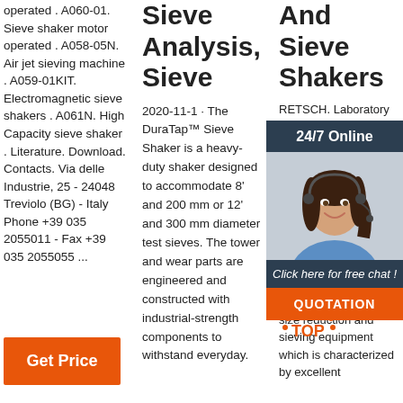operated . A060-01. Sieve shaker motor operated . A058-05N. Air jet sieving machine . A059-01KIT. Electromagnetic sieve shakers . A061N. High Capacity sieve shaker . Literature. Download. Contacts. Via delle Industrie, 25 - 24048 Treviolo (BG) - Italy Phone +39 035 2055011 - Fax +39 035 2055055 ...
Sieve Analysis, Sieve
2020-11-1 · The DuraTap™ Sieve Shaker is a heavy-duty shaker designed to accommodate 8' and 200 mm or 12' and 300 mm diameter test sieves. The tower and wear parts are engineered and constructed with industrial-strength components to withstand everyday.
And Sieve Shakers
RETSCH. Laboratory Mills Sieve RETSCH lead prov anal prep cha solid century of experience RETSCH develops size reduction and sieving equipment which is characterized by excellent
[Figure (photo): Chat popup overlay with dark header '24/7 Online', photo of smiling woman with headset, dark footer 'Click here for free chat!', and orange QUOTATION button]
Get Price